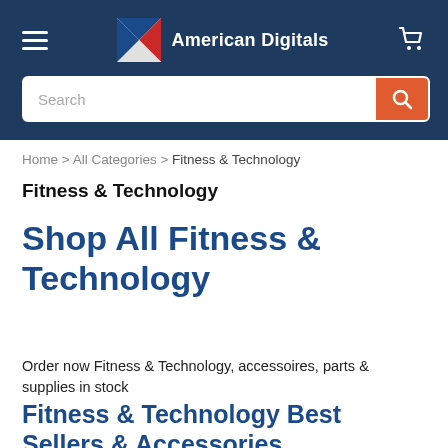American Digitals
Search
Home > All Categories > Fitness & Technology
Fitness & Technology
Shop All Fitness & Technology
Order now Fitness & Technology, accessoires, parts & supplies in stock
Fitness & Technology Best Sellers & Accessories